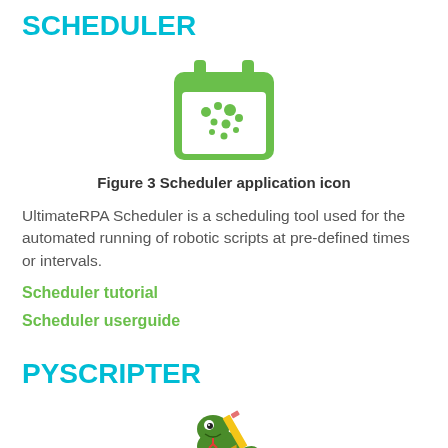SCHEDULER
[Figure (illustration): Green calendar/scheduler application icon with dots representing scheduled events]
Figure 3 Scheduler application icon
UltimateRPA Scheduler is a scheduling tool used for the automated running of robotic scripts at pre-defined times or intervals.
Scheduler tutorial
Scheduler userguide
PYSCRIPTER
[Figure (illustration): PyScripter application icon showing a cartoon dinosaur/dragon holding a pencil]